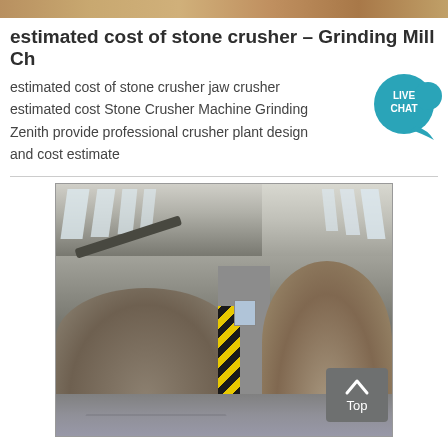[Figure (photo): Decorative top banner image strip showing brown/tan tones, partial view of a stone crusher or aggregate scene]
estimated cost of stone crusher – Grinding Mill Ch
estimated cost of stone crusher jaw crusher estimated cost Stone Crusher Machine Grinding Zenith provide professional crusher plant design and cost estimate
[Figure (photo): Interior of an industrial stone crusher warehouse facility showing conveyor belts, large gravel/stone piles on both sides of a central column with yellow and black hazard stripes, and a corrugated metal roof with skylights]
[Figure (infographic): Live Chat bubble icon in teal color with speech bubble shape and text LIVE CHAT]